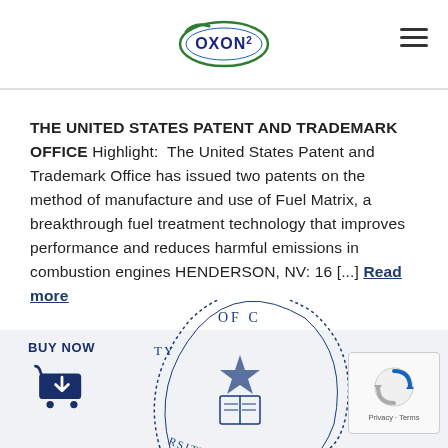Oxon2 logo and hamburger menu
THE UNITED STATES PATENT AND TRADEMARK OFFICE Highlight: The United States Patent and Trademark Office has issued two patents on the method of manufacture and use of Fuel Matrix, a breakthrough fuel treatment technology that improves performance and reduces harmful emissions in combustion engines HENDERSON, NV: 16 [...] Read more
[Figure (logo): University of California seal/emblem partially visible at bottom of page]
[Figure (logo): BUY NOW button with shopping cart icon]
[Figure (other): reCAPTCHA widget with Privacy - Terms text]